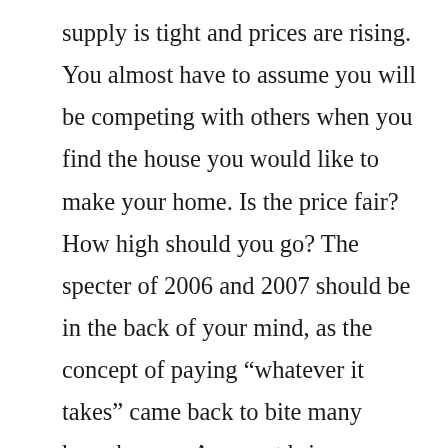supply is tight and prices are rising. You almost have to assume you will be competing with others when you find the house you would like to make your home. Is the price fair? How high should you go? The specter of 2006 and 2007 should be in the back of your mind, as the concept of paying “whatever it takes” came back to bite many homebuyers. An agent brings knowledge of the current market, the choices it offers, what might be coming and how an individual house fits into the bigger picture – including the history of the neighborhood and often of the house itself. An agent will know